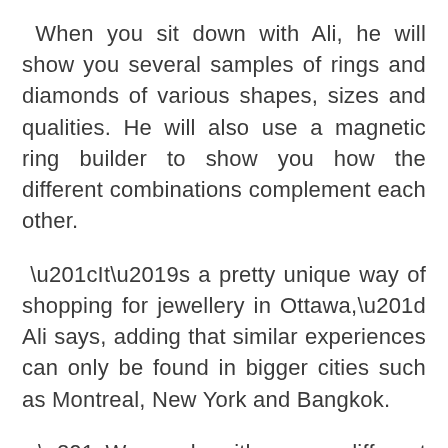When you sit down with Ali, he will show you several samples of rings and diamonds of various shapes, sizes and qualities. He will also use a magnetic ring builder to show you how the different combinations complement each other.
“It’s a pretty unique way of shopping for jewellery in Ottawa,” Ali says, adding that similar experiences can only be found in bigger cities such as Montreal, New York and Bangkok.
“We work with many different samples to find exactly what you’re looking for, and everything is customizable,” he adds. “We can go from the